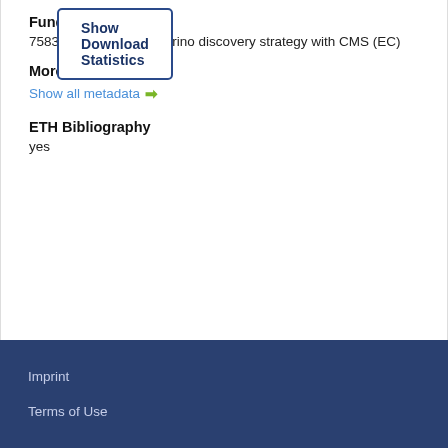Funding
758316 - Majorana neutrino discovery strategy with CMS (EC)
More
Show all metadata →
ETH Bibliography
yes
Show Download Statistics
Imprint
Terms of Use